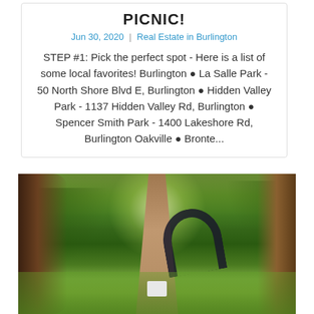PICNIC!
Jun 30, 2020 | Real Estate in Burlington
STEP #1: Pick the perfect spot - Here is a list of some local favorites! Burlington ● La Salle Park - 50 North Shore Blvd E, Burlington ● Hidden Valley Park - 1137 Hidden Valley Rd, Burlington ● Spencer Smith Park - 1400 Lakeshore Rd, Burlington Oakville ● Bronte...
[Figure (photo): A scenic park pathway lined with tall trees and lush green foliage, with a dark arch sculpture visible in the middle distance and a white bench on the path.]